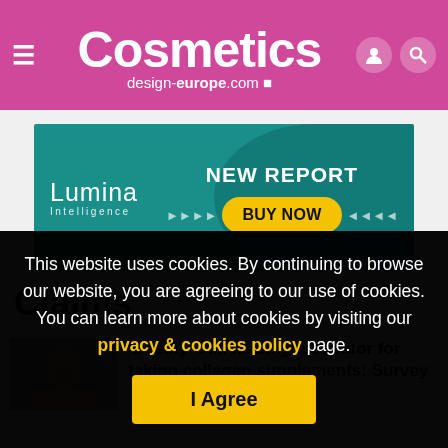Cosmetics design-europe.com
[Figure (infographic): Lumina Intelligence NEW REPORT BUY NOW advertisement banner on teal background]
Claims
[Figure (photo): Person looking down, partial face visible]
'Beauty' still leading motivator for taking collagen supplements: Survey
This website uses cookies. By continuing to browse our website, you are agreeing to our use of cookies. You can learn more about cookies by visiting our privacy & cookies policy page.
I Agree